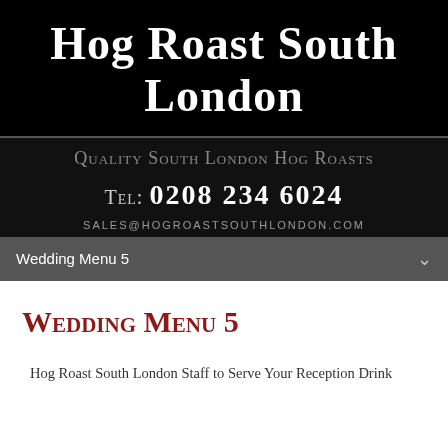Hog Roast South London
Quality South London Hog Roasts
Tel: 0208 234 6024
sales@hogroastsouthlondon.com
Wedding Menu 5
Wedding Menu 5
Hog Roast South London Staff to Serve Your Reception Drink